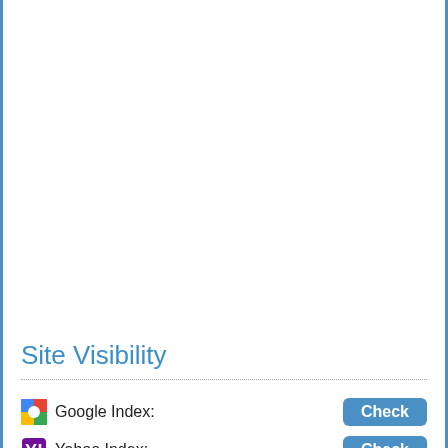Site Visibility
Google Index: Check
Yahoo Index: Check
Bing Index: Check
Alexa Rank: 598,546
Website Speed: 1 (medium)
Google PR(depr.): -
Social Media Visibility